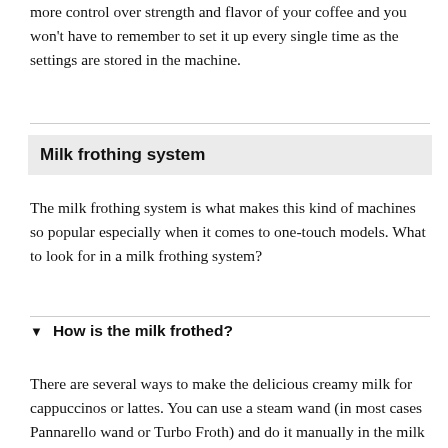more control over strength and flavor of your coffee and you won't have to remember to set it up every single time as the settings are stored in the machine.
Milk frothing system
The milk frothing system is what makes this kind of machines so popular especially when it comes to one-touch models. What to look for in a milk frothing system?
How is the milk frothed?
There are several ways to make the delicious creamy milk for cappuccinos or lattes. You can use a steam wand (in most cases Pannarello wand or Turbo Froth) and do it manually in the milk pitcher or the